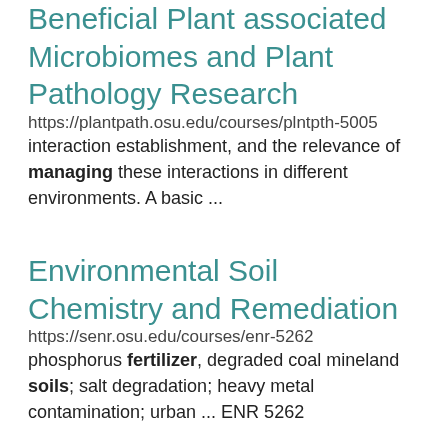Beneficial Plant associated Microbiomes and Plant Pathology Research
https://plantpath.osu.edu/courses/plntpth-5005
interaction establishment, and the relevance of managing these interactions in different environments. A basic ...
Environmental Soil Chemistry and Remediation
https://senr.osu.edu/courses/enr-5262
phosphorus fertilizer, degraded coal mineland soils; salt degradation; heavy metal contamination; urban ... ENR 5262